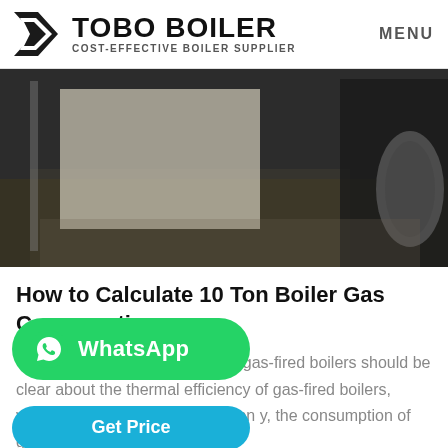TOBO BOILER – COST-EFFECTIVE BOILER SUPPLIER | MENU
[Figure (photo): Interior industrial or studio space with a person standing next to a camera tripod and a cylindrical object on the right, dark moody lighting]
How to Calculate 10 Ton Boiler Gas Consumption
Gas consumption calculation of gas-fired boilers should be clear about the thermal efficiency of gas-fired boilers, value is high, its gas consumption y, the consumption of gas = the…